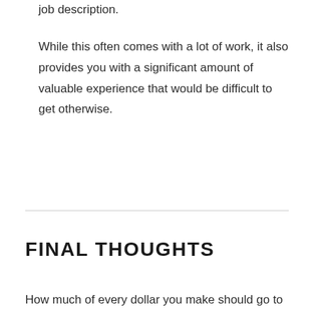job description.
While this often comes with a lot of work, it also provides you with a significant amount of valuable experience that would be difficult to get otherwise.
FINAL THOUGHTS
How much of every dollar you make should go to